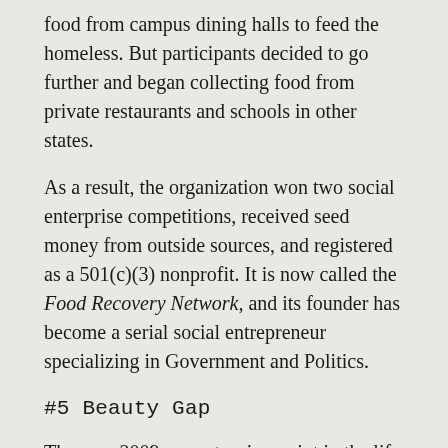food from campus dining halls to feed the homeless. But participants decided to go further and began collecting food from private restaurants and schools in other states.
As a result, the organization won two social enterprise competitions, received seed money from outside sources, and registered as a 501(c)(3) nonprofit. It is now called the Food Recovery Network, and its founder has become a serial social entrepreneur specializing in Government and Politics.
#5 Beauty Gap
The year 2009 was a turning point in the life of University of Southern California student Amber Koonce. That year she went on a trip to Ghana, where she was surprised to note that African girls only